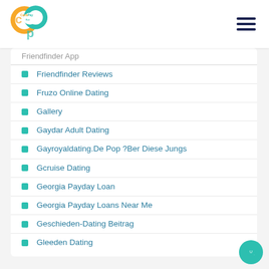Carib Pay App
Friendfinder App
Friendfinder Reviews
Fruzo Online Dating
Gallery
Gaydar Adult Dating
Gayroyaldating.De Pop ?Ber Diese Jungs
Gcruise Dating
Georgia Payday Loan
Georgia Payday Loans Near Me
Geschieden-Dating Beitrag
Gleeden Dating